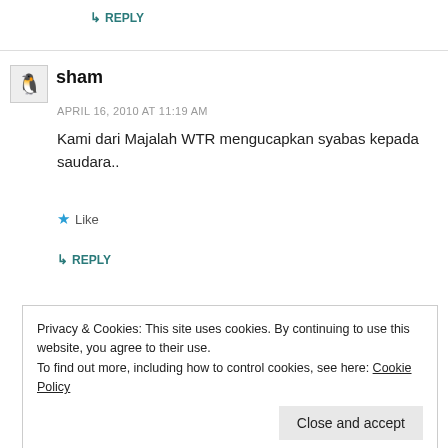↳ REPLY
sham
APRIL 16, 2010 AT 11:19 AM
Kami dari Majalah WTR mengucapkan syabas kepada saudara..
★ Like
↳ REPLY
Privacy & Cookies: This site uses cookies. By continuing to use this website, you agree to their use.
To find out more, including how to control cookies, see here: Cookie Policy
Close and accept